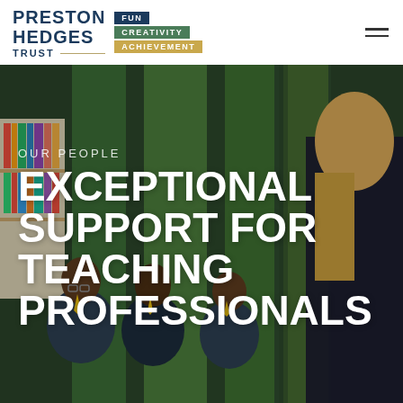[Figure (logo): Preston Hedges Trust logo with FUN, CREATIVITY, ACHIEVEMENT tag badges]
[Figure (photo): School classroom scene with a female teacher standing (back to camera, blonde hair) and three young male students in school uniforms (white shirts, yellow ties, dark blazers) looking up at her. Background shows a green living plant wall and bookshelves with colorful books.]
OUR PEOPLE
EXCEPTIONAL SUPPORT FOR TEACHING PROFESSIONALS